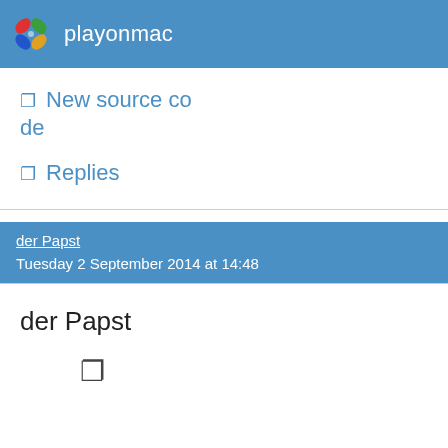playonmac
❐ New source code
❐ Replies
der Papst
Tuesday 2 September 2014 at 14:48
der Papst
❐